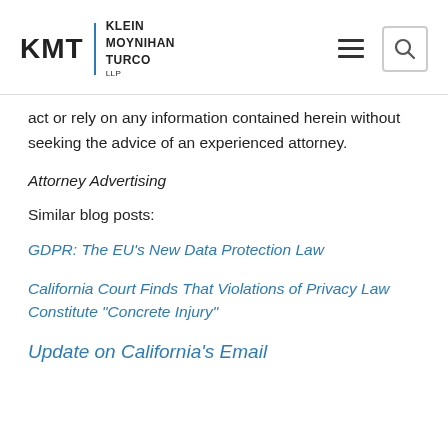KMT | KLEIN MOYNIHAN TURCO LLP
act or rely on any information contained herein without seeking the advice of an experienced attorney.
Attorney Advertising
Similar blog posts:
GDPR: The EU’s New Data Protection Law
California Court Finds That Violations of Privacy Law Constitute “Concrete Injury”
Update on California’s Email